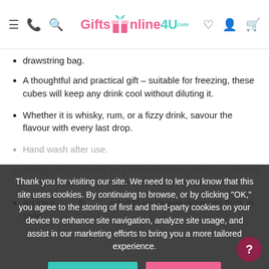GiftsOnline4U.com navigation header
drawstring bag.
A thoughtful and practical gift – suitable for freezing, these cubes will keep any drink cool without diluting it.
Whether it is whisky, rum, or a fizzy drink, savour the flavour with every last drop.
Hand wash after use.
(partially obscured) design with space for an initial so it home, make your loved one feel special every time they fancy a tipple.
An ideal ... gift, ... dad to enjoy well-deserved drink in style.
Thank you for visiting our site. We need to let you know that this site uses cookies. By continuing to browse, or by clicking "OK," you agree to the storing of first and third-party cookies on your device to enhance site navigation, analyze site usage, and assist in our marketing efforts to bring you a more tailored experience.